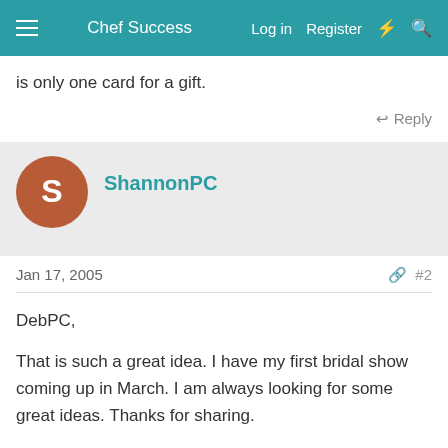Chef Success | Log in | Register
is only one card for a gift.
Reply
ShannonPC
Jan 17, 2005  #2
DebPC,
That is such a great idea. I have my first bridal show coming up in March. I am always looking for some great ideas. Thanks for sharing.
Sh...